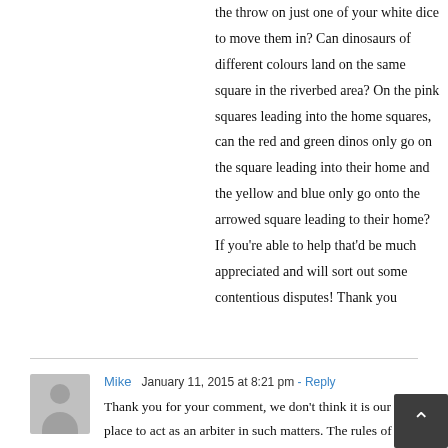the throw on just one of your white dice to move them in? Can dinosaurs of different colours land on the same square in the riverbed area? On the pink squares leading into the home squares, can the red and green dinos only go on the square leading into their home and the yellow and blue only go onto the arrowed square leading to their home? If you're able to help that'd be much appreciated and will sort out some contentious disputes! Thank you
Mike  January 11, 2015 at 8:21 pm - Reply
Thank you for your comment, we don't think it is our place to act as an arbiter in such matters. The rules of the game